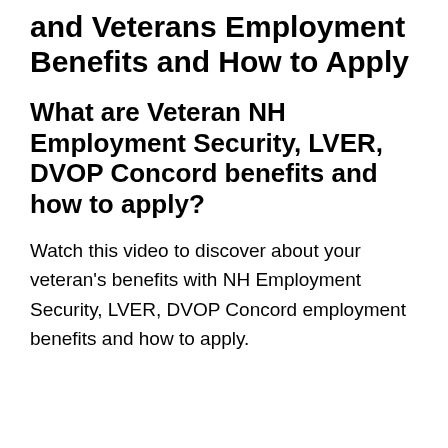and Veterans Employment Benefits and How to Apply
What are Veteran NH Employment Security, LVER, DVOP Concord benefits and how to apply?
Watch this video to discover about your veteran's benefits with NH Employment Security, LVER, DVOP Concord employment benefits and how to apply.